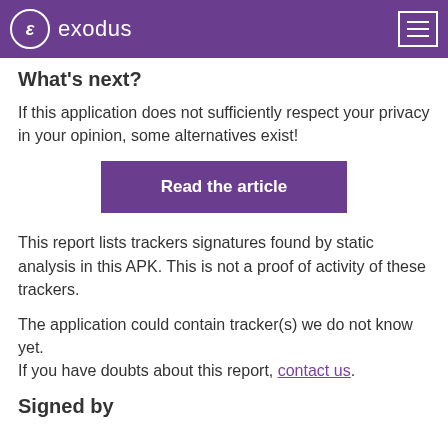exodus
What's next?
If this application does not sufficiently respect your privacy in your opinion, some alternatives exist!
Read the article
This report lists trackers signatures found by static analysis in this APK. This is not a proof of activity of these trackers.
The application could contain tracker(s) we do not know yet.
If you have doubts about this report, contact us.
Signed by